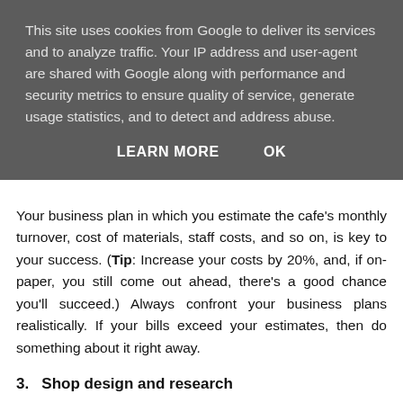This site uses cookies from Google to deliver its services and to analyze traffic. Your IP address and user-agent are shared with Google along with performance and security metrics to ensure quality of service, generate usage statistics, and to detect and address abuse.
LEARN MORE    OK
Your business plan in which you estimate the cafe's monthly turnover, cost of materials, staff costs, and so on, is key to your success. (Tip: Increase your costs by 20%, and, if on-paper, you still come out ahead, there's a good chance you'll succeed.) Always confront your business plans realistically. If your bills exceed your estimates, then do something about it right away.
3.   Shop design and research
Apart from the design and the interior décor, you'll have to research new food recipes so that your café offers something different and unique. Customers are very discerning these days and know exactly what they want. Mediocre service, food and drink is not an option.